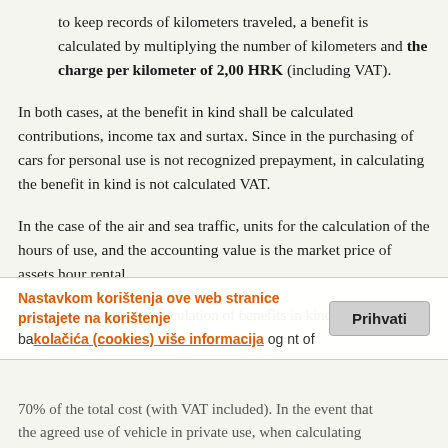to keep records of kilometers traveled, a benefit is calculated by multiplying the number of kilometers and the charge per kilometer of 2,00 HRK (including VAT).
In both cases, at the benefit in kind shall be calculated contributions, income tax and surtax. Since in the purchasing of cars for personal use is not recognized prepayment, in calculating the benefit in kind is not calculated VAT.
In the case of the air and sea traffic, units for the calculation of the hours of use, and the accounting value is the market price of assets hour rental.
Another note with the calculation of benefits in kind on the basis of ... using ... amount of 70% of the total cost (with VAT included). In the event that the agreed use of vehicle in private use, when calculating